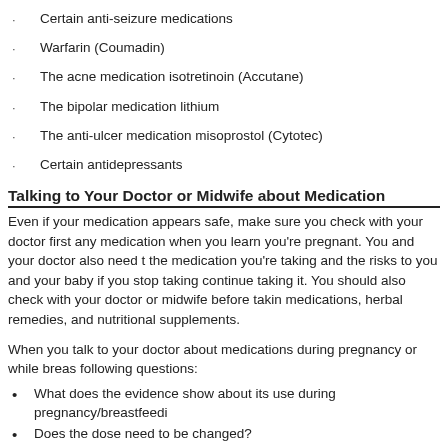Certain anti-seizure medications
Warfarin (Coumadin)
The acne medication isotretinoin (Accutane)
The bipolar medication lithium
The anti-ulcer medication misoprostol (Cytotec)
Certain antidepressants
Talking to Your Doctor or Midwife about Medication
Even if your medication appears safe, make sure you check with your doctor first any medication when you learn you're pregnant. You and your doctor also need to the medication you're taking and the risks to you and your baby if you stop taking continue taking it. You should also check with your doctor or midwife before takin medications, herbal remedies, and nutritional supplements.
When you talk to your doctor about medications during pregnancy or while breas following questions:
What does the evidence show about its use during pregnancy/breastfeedi
Does the dose need to be changed?
What are the risks of not taking it?
Are safer options available?
Are there different complications or side effects I should be aware of?
Will the drug affect me during labor and delivery?
Is there any evidence of later complications, such as in the growth, develo